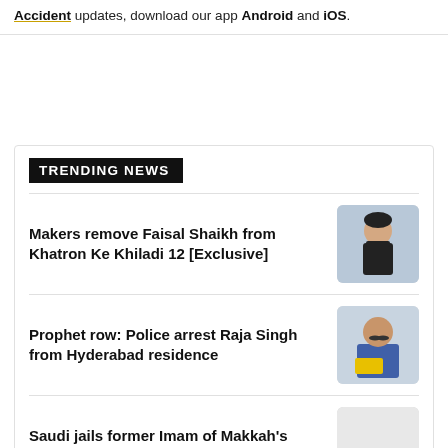Accident updates, download our app Android and iOS.
TRENDING NEWS
Makers remove Faisal Shaikh from Khatron Ke Khiladi 12 [Exclusive]
[Figure (photo): Man in black t-shirt posing against a light background]
Prophet row: Police arrest Raja Singh from Hyderabad residence
[Figure (photo): Man with mustache holding yellow object]
Saudi jails former Imam of Makkah's Grand Mosque to 10 years
[Figure (photo): Light gray placeholder image]